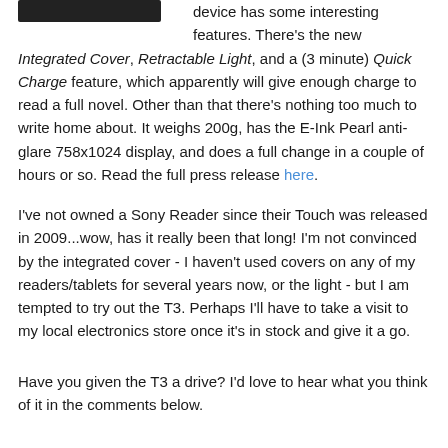[Figure (photo): Black rectangular device image at top left]
device has some interesting features. There's the new Integrated Cover, Retractable Light, and a (3 minute) Quick Charge feature, which apparently will give enough charge to read a full novel. Other than that there's nothing too much to write home about. It weighs 200g, has the E-Ink Pearl anti-glare 758x1024 display, and does a full change in a couple of hours or so. Read the full press release here.
I've not owned a Sony Reader since their Touch was released in 2009...wow, has it really been that long! I'm not convinced by the integrated cover - I haven't used covers on any of my readers/tablets for several years now, or the light - but I am tempted to try out the T3. Perhaps I'll have to take a visit to my local electronics store once it's in stock and give it a go.
Have you given the T3 a drive? I'd love to hear what you think of it in the comments below.